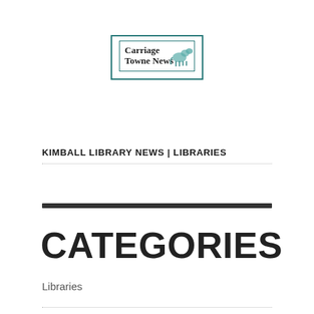[Figure (logo): Carriage Towne News logo with teal border and horse illustration]
KIMBALL LIBRARY NEWS | LIBRARIES
CATEGORIES
Libraries